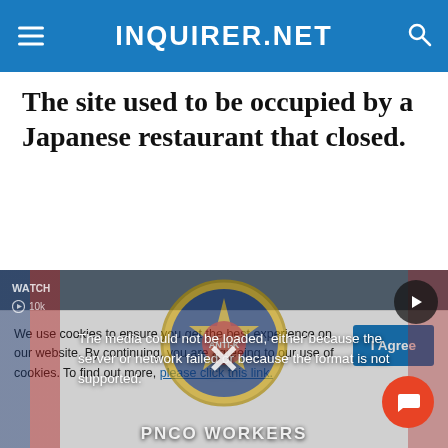INQUIRER.NET
The site used to be occupied by a Japanese restaurant that closed.
[Figure (screenshot): Video player showing a media error message: 'The media could not be loaded, either because the server or network failed or because the format is not supported.' Background shows a Philippine police agency badge and text 'PNCO WORKERS'. A play button icon is visible top right, and an X close button is in the center.]
We use cookies to ensure you get the best experience on our website. By continuing, you are agreeing to our use of cookies. To find out more, please click this link.